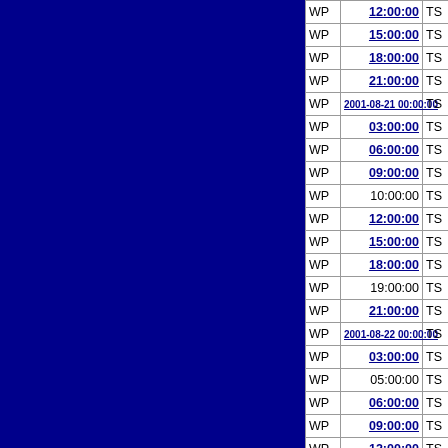|  |  |  |  |
| --- | --- | --- | --- |
| WP | 12:00:00 | TS | 30.1 |
| WP | 15:00:00 | TS | 30.4 |
| WP | 18:00:00 | TS | 30.8 |
| WP | 21:00:00 | TS | 31.3 |
| WP | 2001-08-21 00:00:00 | TS | 31.9 |
| WP | 03:00:00 | TS | 32.4 |
| WP | 06:00:00 | TS | 33.0 |
| WP | 09:00:00 | TS | 33.4 |
| WP | 10:00:00 | TS | 33.5 |
| WP | 12:00:00 | TS | 33.7 |
| WP | 15:00:00 | TS | 33.9 |
| WP | 18:00:00 | TS | 34.2 |
| WP | 19:00:00 | TS | 34.3 |
| WP | 21:00:00 | TS | 34.4 |
| WP | 2001-08-22 00:00:00 | TS | 34.6 |
| WP | 03:00:00 | TS | 34.8 |
| WP | 05:00:00 | TS | 35.2 |
| WP | 06:00:00 | TS | 35.4 |
| WP | 09:00:00 | TS | 36.3 |
| WP | 12:00:00 | TS | 37.3 |